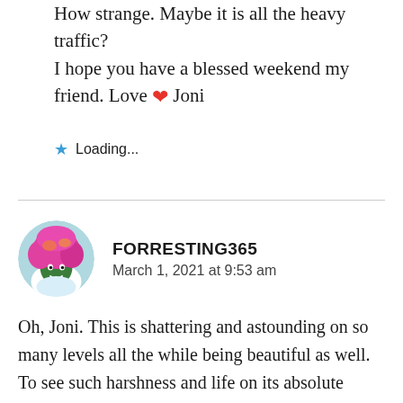How strange. Maybe it is all the heavy traffic? I hope you have a blessed weekend my friend. Love ❤ Joni
★ Loading...
FORRESTING365
March 1, 2021 at 9:53 am
Oh, Joni. This is shattering and astounding on so many levels all the while being beautiful as well. To see such harshness and life on its absolute knees through Your poet eyes is incredible. Even Your photo, which I stared at a long while before reading Your words, is beyond. You, Your family and Your